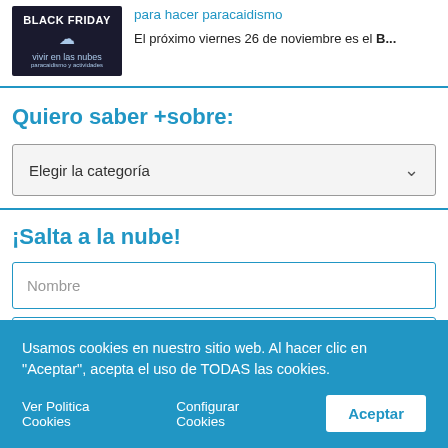[Figure (screenshot): Black Friday thumbnail image with text 'BLACK FRIDAY' and 'vivir en las nubes' cloud logo on dark blue background]
para hacer paracaidismo
El próximo viernes 26 de noviembre es el B...
Quiero saber +sobre:
Elegir la categoría
¡Salta a la nube!
Nombre
Usamos cookies en nuestro sitio web. Al hacer clic en "Aceptar", acepta el uso de TODAS las cookies.
Ver Politica Cookies   Configurar Cookies   Aceptar